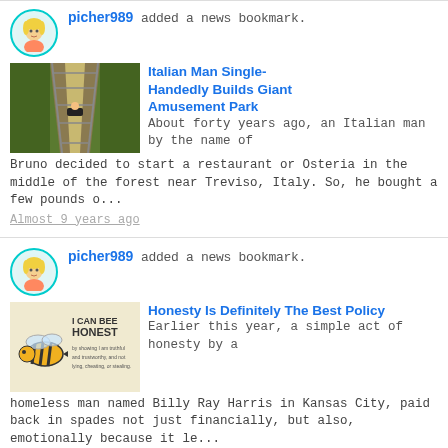picher989 added a news bookmark.
[Figure (photo): Thumbnail photo of a roller coaster or luge track through forest]
Italian Man Single-Handedly Builds Giant Amusement Park
About forty years ago, an Italian man by the name of Bruno decided to start a restaurant or Osteria in the middle of the forest near Treviso, Italy. So, he bought a few pounds o...
Almost 9 years ago
picher989 added a news bookmark.
[Figure (illustration): I can BEE HONEST - bee illustration with text about being truthful and trustworthy]
Honesty Is Definitely The Best Policy
Earlier this year, a simple act of honesty by a homeless man named Billy Ray Harris in Kansas City, paid back in spades not just financially, but also, emotionally because it le...
Almost 9 years ago
picher989 added a news bookmark.
[Figure (photo): Fantasy creature that looks like a large insect or dragon against a cloudy sky]
J.K. Rowling Returns - This Time With Some Magical Creatures!
Here is some awesome new...